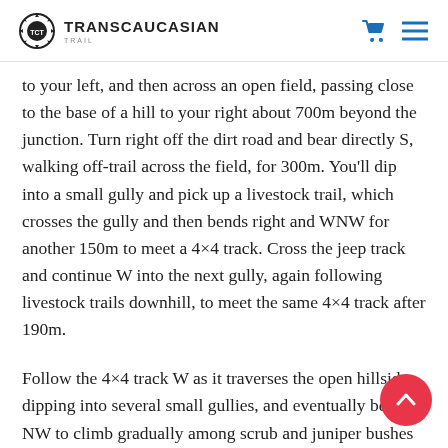TRANSCAUCASIAN TRAIL
to your left, and then across an open field, passing close to the base of a hill to your right about 700m beyond the junction. Turn right off the dirt road and bear directly S, walking off-trail across the field, for 300m. You'll dip into a small gully and pick up a livestock trail, which crosses the gully and then bends right and WNW for another 150m to meet a 4×4 track. Cross the jeep track and continue W into the next gully, again following livestock trails downhill, to meet the same 4×4 track after 190m.
Follow the 4×4 track W as it traverses the open hillside, dipping into several small gullies, and eventually bearing NW to climb gradually among scrub and juniper bushes to reach the top of a rocky ridge after 2.3km. The track may seem to disappear: continue